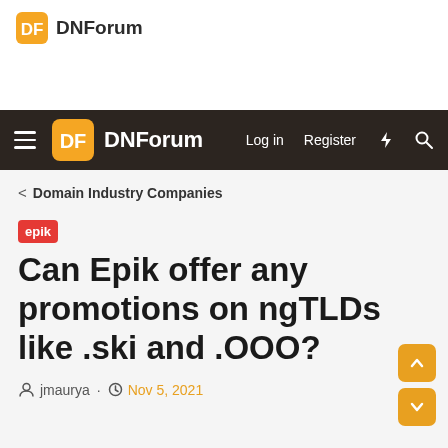DNForum
DNForum — Log in  Register
< Domain Industry Companies
epik Can Epik offer any promotions on ngTLDs like .ski and .OOO?
jmaurya · Nov 5, 2021